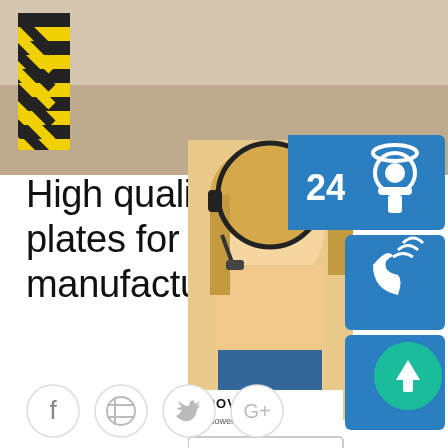[Figure (photo): Hero image showing industrial/manufacturing materials with yellow and black striped tape visible at top left, and a beige/tan surface background]
High quality custom metal plates for handbags manufacturer
Custom Metal Name Plates,Laser engraving,etching,embossed,screen printing, electroforming, logo & data name plates, Anodized Aluminum, Brass, High quality custom metal plates for handbags manufacturer sp.info
[Figure (infographic): Customer service overlay panel showing: 24/7 badge (blue), headset icon (blue rounded square), phone/call icon (blue rounded square), Skype icon (blue rounded square), agent photo with blonde woman wearing headset, PROVIDE Empowering Customers banner, online live button]
[Figure (infographic): Teal circular scroll-to-top button with upward arrow]
[Figure (infographic): Social media icon bar with Facebook, Dribbble, Twitter, and Google+ circular icons]